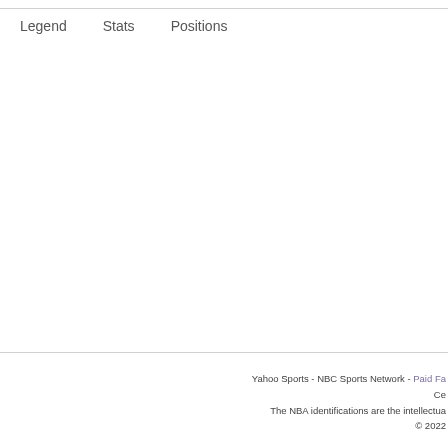Legend   Stats   Positions
Yahoo Sports - NBC Sports Network - Paid Fa... Ce... The NBA identifications are the intellectua... © 2022